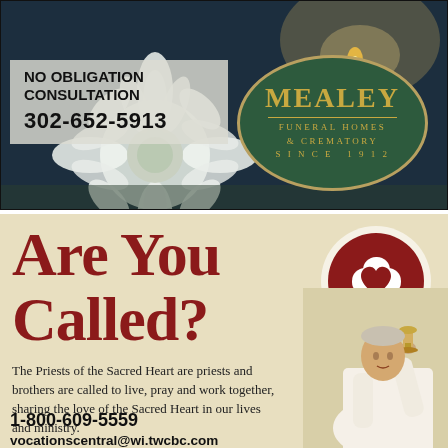[Figure (illustration): Mealey Funeral Homes & Crematory advertisement. Dark background with white chrysanthemum flowers and candle. Left side shows 'NO OBLIGATION CONSULTATION' text with phone number 302-652-5913 on a semi-transparent overlay. Right side features the Mealey Funeral Homes & Crematory Since 1912 green oval logo with gold lettering.]
NO OBLIGATION CONSULTATION
302-652-5913
MEALEY
FUNERAL HOMES & CREMATORY
SINCE 1912
[Figure (illustration): Priests of the Sacred Heart vocations advertisement on cream/tan background. Large dark red text reads 'Are You Called?' with Sacred Heart cross logo (red circle with white cross and heart). Photo of elderly priest in white robes holding up a chalice. Body text describes the call to priesthood.]
Are You Called?
The Priests of the Sacred Heart are priests and brothers are called to live, pray and work together, sharing the love of the Sacred Heart in our lives and ministry.
1-800-609-5559
vocationscentral@wi.twcbc.com